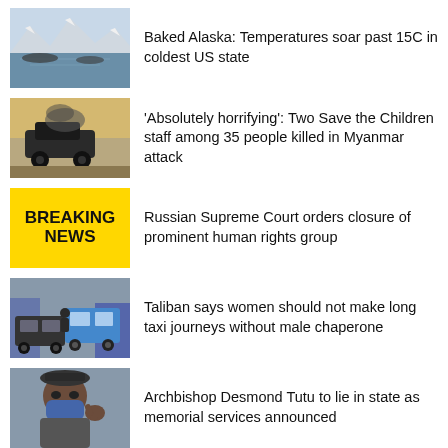Baked Alaska: Temperatures soar past 15C in coldest US state
'Absolutely horrifying': Two Save the Children staff among 35 people killed in Myanmar attack
Russian Supreme Court orders closure of prominent human rights group
Taliban says women should not make long taxi journeys without male chaperone
Archbishop Desmond Tutu to lie in state as memorial services announced